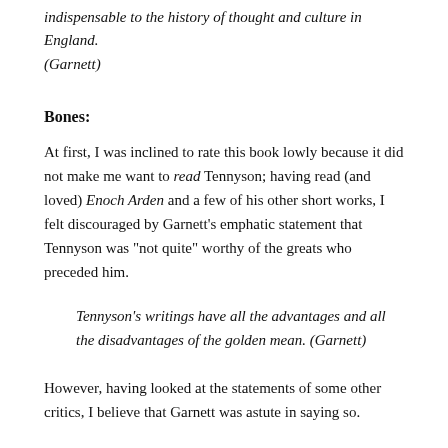indispensable to the history of thought and culture in England. (Garnett)
Bones:
At first, I was inclined to rate this book lowly because it did not make me want to read Tennyson; having read (and loved) Enoch Arden and a few of his other short works, I felt discouraged by Garnett’s emphatic statement that Tennyson was “not quite” worthy of the greats who preceded him.
Tennyson’s writings have all the advantages and all the disadvantages of the golden mean. (Garnett)
However, having looked at the statements of some other critics, I believe that Garnett was astute in saying so.